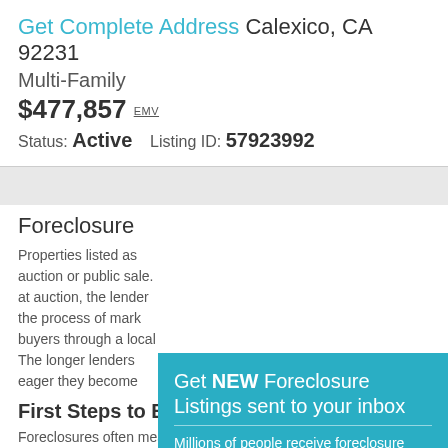Get Complete Address Calexico, CA 92231
Multi-Family
$477,857 EMV
Status: Active    Listing ID: 57923992
[Figure (infographic): Popup overlay on teal/blue background: heading 'Get NEW Foreclosure Listings sent to your inbox', subtext 'Millions of people receive foreclosure alerts daily, don't miss out.', a red Signup Here button, envelope icon, and links 'No Thanks | Remind Me Later']
Foreclosure
Properties listed as foreclosure are scheduled to go to auction or public sale. If the property doesn't sell at auction, the lender takes ownership and begins the process of marketing the property to prospective buyers through a local real estate listing service. The longer lenders hold on to REO properties, the more eager they become to sell.
First Steps to Buying a Foreclosure
Foreclosures often mean the original homeowner had some